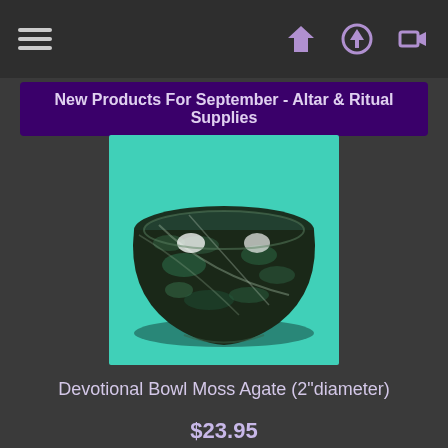New Products For September - Altar & Ritual Supplies
[Figure (photo): A dark green and black moss agate devotional bowl on a teal background. The bowl is round and polished, with white light reflections visible inside.]
Devotional Bowl Moss Agate (2"diameter)
$23.95